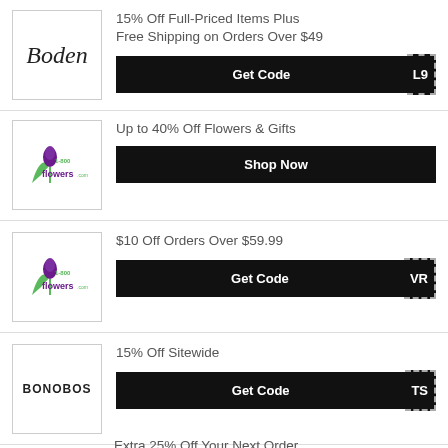[Figure (logo): Boden cursive logo]
15% Off Full-Priced Items Plus Free Shipping on Orders Over $49
[Figure (logo): 1-800-Flowers logo]
Up to 40% Off Flowers & Gifts
[Figure (logo): 1-800-Flowers logo]
$10 Off Orders Over $59.99
[Figure (logo): Bonobos logo]
15% Off Sitewide
Extra 25% Off Your Next Order